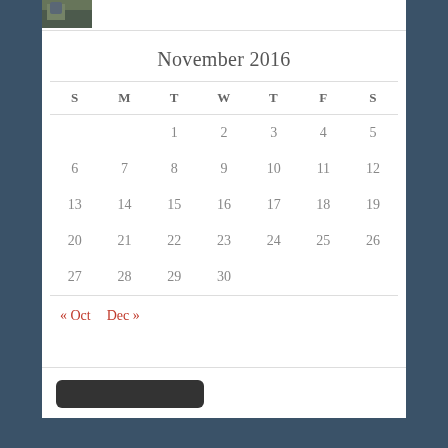[Figure (photo): Small thumbnail photo of a person or scene in the top left of a white panel]
November 2016
| S | M | T | W | T | F | S |
| --- | --- | --- | --- | --- | --- | --- |
|  |  | 1 | 2 | 3 | 4 | 5 |
| 6 | 7 | 8 | 9 | 10 | 11 | 12 |
| 13 | 14 | 15 | 16 | 17 | 18 | 19 |
| 20 | 21 | 22 | 23 | 24 | 25 | 26 |
| 27 | 28 | 29 | 30 |  |  |  |
« Oct  Dec »